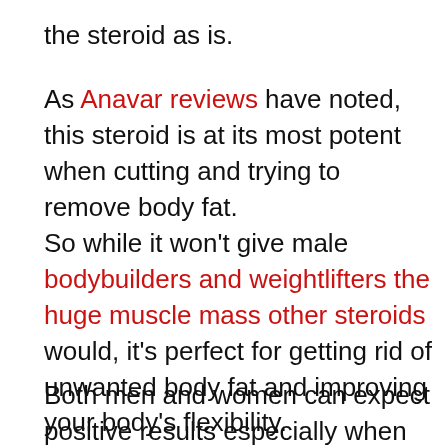the steroid as is.
As Anavar reviews have noted, this steroid is at its most potent when cutting and trying to remove body fat.
So while it won't give male bodybuilders and weightlifters the huge muscle mass other steroids would, it's perfect for getting rid of unwanted body fat and improving your body's flexibility.
Both men and women can expect positive results especially when combined with regular workouts and a healthy diet.